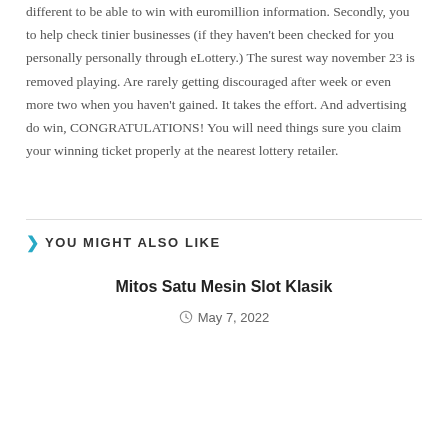different to be able to win with euromillion information. Secondly, you to help check tinier businesses (if they haven't been checked for you personally personally through eLottery.) The surest way november 23 is removed playing. Are rarely getting discouraged after week or even more two when you haven't gained. It takes the effort. And advertising do win, CONGRATULATIONS! You will need things sure you claim your winning ticket properly at the nearest lottery retailer.
YOU MIGHT ALSO LIKE
Mitos Satu Mesin Slot Klasik
May 7, 2022